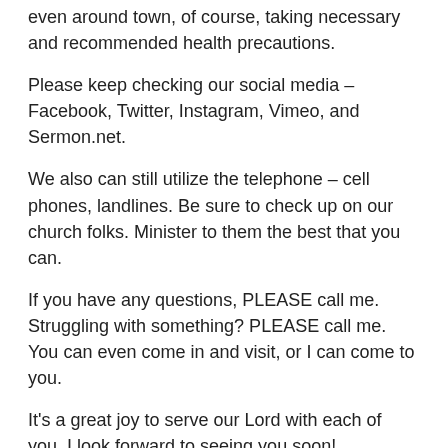even around town, of course, taking necessary and recommended health precautions.
Please keep checking our social media – Facebook, Twitter, Instagram, Vimeo, and Sermon.net.
We also can still utilize the telephone – cell phones, landlines. Be sure to check up on our church folks. Minister to them the best that you can.
If you have any questions, PLEASE call me. Struggling with something? PLEASE call me. You can even come in and visit, or I can come to you.
It's a great joy to serve our Lord with each of you. I look forward to seeing you soon!
Your friend,
Cole Howe
Pastor